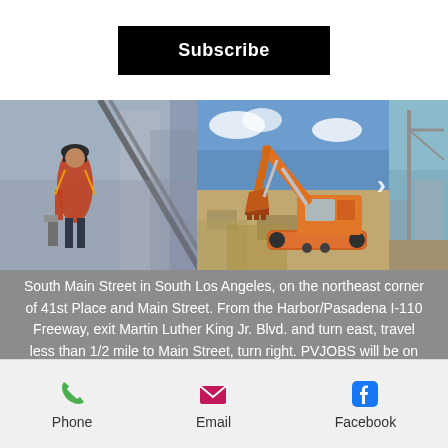Subscribe
[Figure (photo): Construction image carousel showing a worker on a high-rise building, an orange excavator on a demolition site, and a partial third photo of a construction scene with a crane]
South Main Street in South Los Angeles, on the northeast corner of 41st Place and Main Street. From the Harbor/Pasadena I-110 Freeway, exit Martin Luther King Jr. Blvd. and turn east, travel less than 1/2 mile to Main Street, turn right. PVJOBS will be on your left at 41st Place.
Phone
Email
Facebook